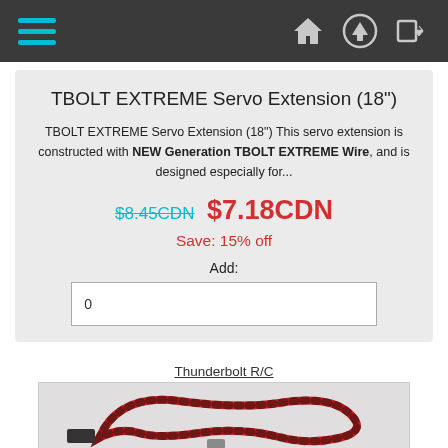Navigation bar with hamburger menu and icons
TBOLT EXTREME Servo Extension (18")
TBOLT EXTREME Servo Extension (18") This servo extension is constructed with NEW Generation TBOLT EXTREME Wire, and is designed especially for...
$8.45CDN  $7.18CDN
Save: 15% off
Add:
0
Thunderbolt R/C
[Figure (photo): Red and black braided servo extension cable with connectors]